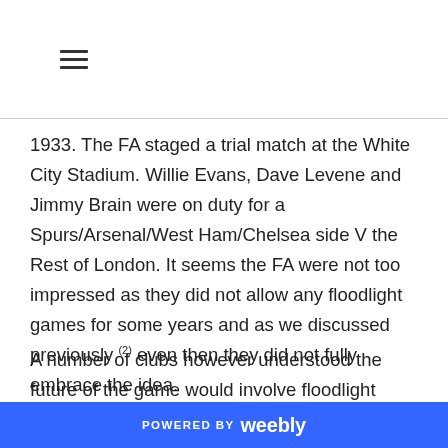≡
1933. The FA staged a trial match at the White City Stadium. Willie Evans, Dave Levene and Jimmy Brain were on duty for a Spurs/Arsenal/West Ham/Chelsea side V the Rest of London. It seems the FA were not too impressed as they did not allow any floodlight games for some years and as we discussed previously (2) even then they did not fully embrace the idea.
A number of clubs however understood the future of the game would involve floodlight tournaments
POWERED BY weebly